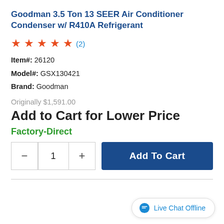Goodman 3.5 Ton 13 SEER Air Conditioner Condenser w/ R410A Refrigerant
★★★★★ (2)
Item#: 26120
Model#: GSX130421
Brand: Goodman
Originally $1,591.00
Add to Cart for Lower Price
Factory-Direct
− 1 + Add To Cart
Live Chat Offline